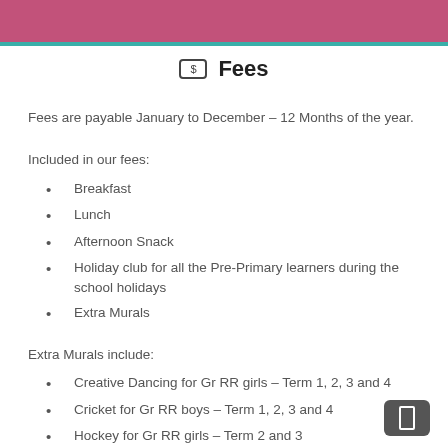Fees
Fees are payable January to December – 12 Months of the year.
Included in our fees:
Breakfast
Lunch
Afternoon Snack
Holiday club for all the Pre-Primary learners during the school holidays
Extra Murals
Extra Murals include:
Creative Dancing for Gr RR girls – Term 1, 2, 3 and 4
Cricket for Gr RR boys – Term 1, 2, 3 and 4
Hockey for Gr RR girls – Term 2 and 3
Hockey for Gr RR boys – Term 2 and 3